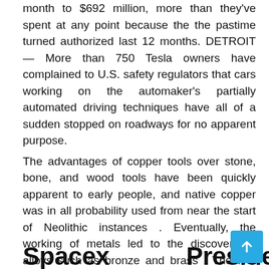month to $692 million, more than they've spent at any point because the the pastime turned authorized last 12 months. DETROIT — More than 750 Tesla owners have complained to U.S. safety regulators that cars working on the automaker's partially automated driving techniques have all of a sudden stopped on roadways for no apparent purpose.
The advantages of copper tools over stone, bone, and wood tools have been quickly apparent to early people, and native copper was in all probability used from near the start of Neolithic instances . Eventually, the working of metals led to the discovery of alloys such as bronze and brass . The first uses of iron alloys similar to metal dates to round 1800 BCE. Hominids started using primitive stone tools tens of millions of years ago.
Spacex
President